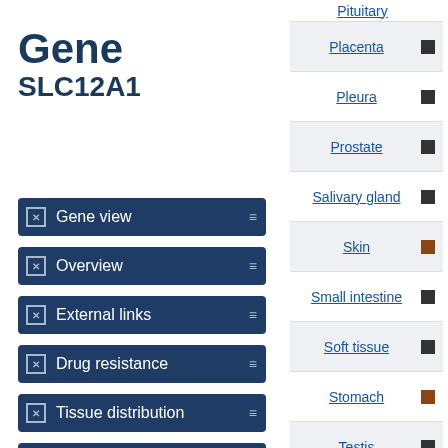Gene SLC12A1
Gene view
Overview
External links
Drug resistance
Tissue distribution
Genome browser
Mutation distribution
| Tissue |  |
| --- | --- |
| Pituitary |  |
| Placenta | ■ |
| Pleura | ■ |
| Prostate | ■ |
| Salivary gland | ■ |
| Skin | ■ |
| Small intestine | ■ |
| Soft tissue | ■ |
| Stomach | ■ |
| Testis | ■ |
Your choice regarding cookies on this site
We use cookies to optimise site functionality and give you the best possible experience.